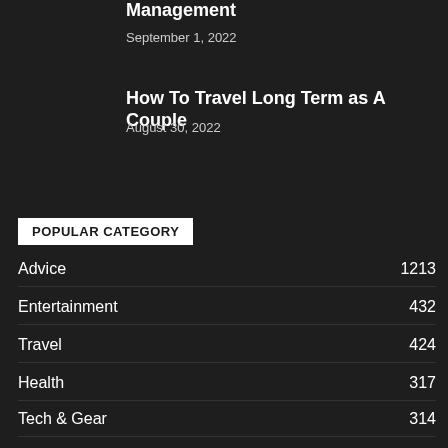Management
September 1, 2022
How To Travel Long Term as A Couple
August 30, 2022
POPULAR CATEGORY
Advice 1213
Entertainment 432
Travel 424
Health 317
Tech & Gear 314
Business 313
Style 266